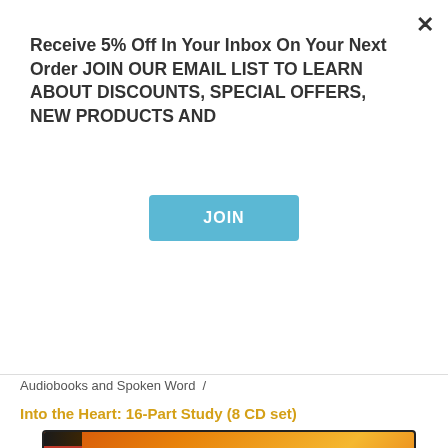Receive 5% Off In Your Inbox On Your Next Order JOIN OUR EMAIL LIST TO LEARN ABOUT DISCOUNTS, SPECIAL OFFERS, NEW PRODUCTS AND
JOIN
Audiobooks and Spoken Word /
Into the Heart: 16-Part Study (8 CD set)
[Figure (photo): CD set product image showing 'Into the Heart' audiobook CD set with orange/golden gradient background and stylized text]